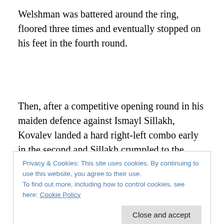Welshman was battered around the ring, floored three times and eventually stopped on his feet in the fourth round.
Then, after a competitive opening round in his maiden defence against Ismayl Sillakh, Kovalev landed a hard right-left combo early in the second and Sillakh crumpled to the floor. As he rose, the Krusher taunted him before
Privacy & Cookies: This site uses cookies. By continuing to use this website, you agree to their use.
To find out more, including how to control cookies, see here: Cookie Policy
draws an involuntary cringe even from seasoned